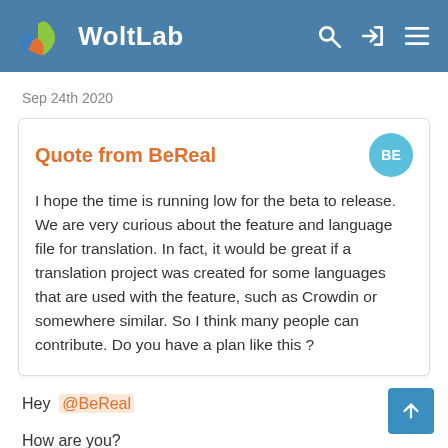WoltLab
Sep 24th 2020
Quote from BeReal
I hope the time is running low for the beta to release. We are very curious about the feature and language file for translation. In fact, it would be great if a translation project was created for some languages that are used with the feature, such as Crowdin or somewhere similar. So I think many people can contribute. Do you have a plan like this ?
Hey @BeReal
How are you?
I got the Crowdin project ready to go and you can access it